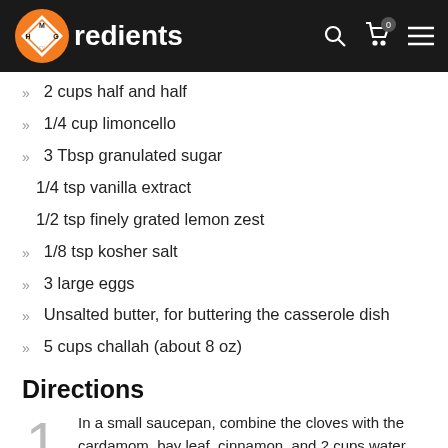redients
2 cups half and half
1/4 cup limoncello
3 Tbsp granulated sugar
1/4 tsp vanilla extract
1/2 tsp finely grated lemon zest
1/8 tsp kosher salt
3 large eggs
Unsalted butter, for buttering the casserole dish
5 cups challah (about 8 oz)
Directions
In a small saucepan, combine the cloves with the cardamom, bay leaf, cinnamon, and 2 cups water and bring to a boil. Add the fish, return to a boil, then reduce the heat to maintain a simmer and poach the fish until